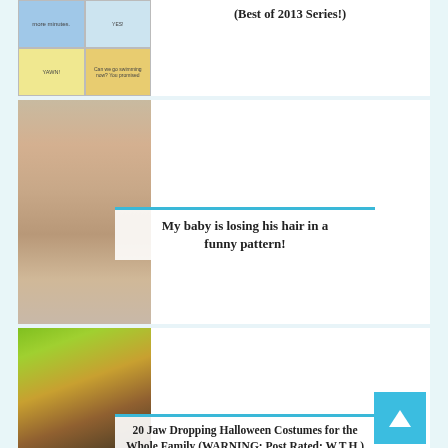[Figure (illustration): Comic strip illustration showing cartoon characters in a 4-panel grid, with blue and yellow tones]
(Best of 2013 Series!)
[Figure (photo): Close-up photo of a baby's head showing hair loss pattern, brown/peach skin tones]
My baby is losing his hair in a funny pattern!
[Figure (photo): Photo of a dog wearing a green frog Halloween costume lying on the floor]
20 Jaw Dropping Halloween Costumes for the Whole Family (WARNING: Post Rated: W.T.H.)